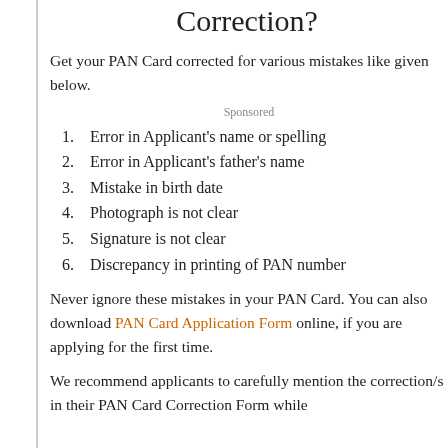Correction?
Get your PAN Card corrected for various mistakes like given below.
Sponsored
Error in Applicant's name or spelling
Error in Applicant's father's name
Mistake in birth date
Photograph is not clear
Signature is not clear
Discrepancy in printing of PAN number
Never ignore these mistakes in your PAN Card. You can also download PAN Card Application Form online, if you are applying for the first time.
We recommend applicants to carefully mention the correction/s in their PAN Card Correction Form while